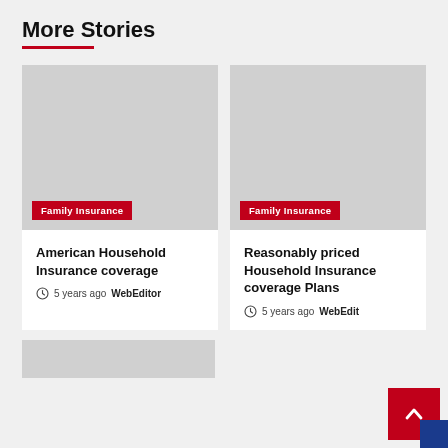More Stories
[Figure (photo): Gray placeholder image for article with Family Insurance badge]
Family Insurance
American Household Insurance coverage
5 years ago  WebEditor
[Figure (photo): Gray placeholder image for article with Family Insurance badge]
Family Insurance
Reasonably priced Household Insurance coverage Plans
5 years ago  WebEditor
[Figure (photo): Gray placeholder image for third article card (partial)]